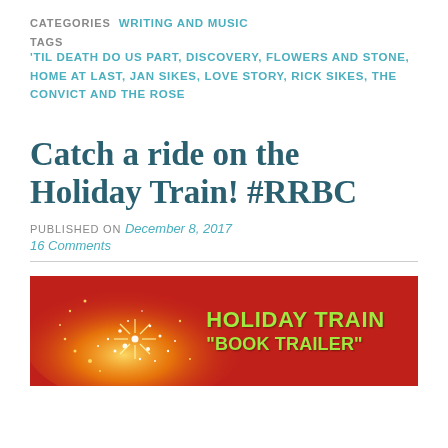CATEGORIES  WRITING AND MUSIC
TAGS  'TIL DEATH DO US PART, DISCOVERY, FLOWERS AND STONE, HOME AT LAST, JAN SIKES, LOVE STORY, RICK SIKES, THE CONVICT AND THE ROSE
Catch a ride on the Holiday Train! #RRBC
PUBLISHED ON December 8, 2017
16 Comments
[Figure (illustration): Holiday Train Book Trailer banner image with red background, golden sparkle design on the left, and green text reading HOLIDAY TRAIN "BOOK TRAILER" on the right]